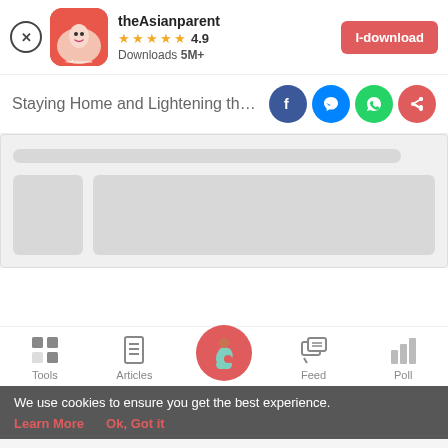[Figure (screenshot): App download banner for theAsianparent app showing close button, app icon, app name, 4.9 star rating, 5M+ downloads, and a red download button]
Staying Home and Lightening the Loa
[Figure (infographic): Social sharing icons: Facebook, Messenger, WhatsApp, and a share button]
[Figure (infographic): Loading skeleton placeholder with grey bars representing article content]
[Figure (infographic): Bottom navigation bar with Tools, Articles, home/pregnancy icon, Feed, and Poll tabs]
We use cookies to ensure you get the best experience.
Learn More   Ok, Got it